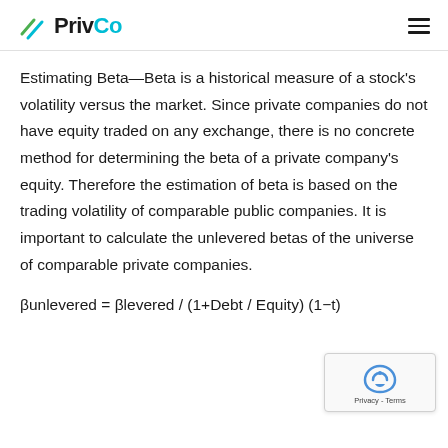PrivCo
Estimating Beta—Beta is a historical measure of a stock's volatility versus the market. Since private companies do not have equity traded on any exchange, there is no concrete method for determining the beta of a private company's equity. Therefore the estimation of beta is based on the trading volatility of comparable public companies. It is important to calculate the unlevered betas of the universe of comparable private companies.